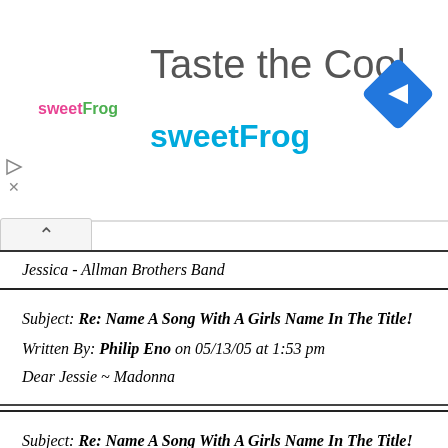[Figure (screenshot): SweetFrog advertisement banner with logo, tagline 'Taste the Cool', and brand name 'sweetFrog' in teal, plus a blue navigation diamond icon]
Jessica - Allman Brothers Band
Subject: Re: Name A Song With A Girls Name In The Title!
Written By: Philip Eno on 05/13/05 at 1:53 pm
Dear Jessie ~ Madonna
Subject: Re: Name A Song With A Girls Name In The Title!
Written By: spaceace on 05/13/05 at 2:25 pm